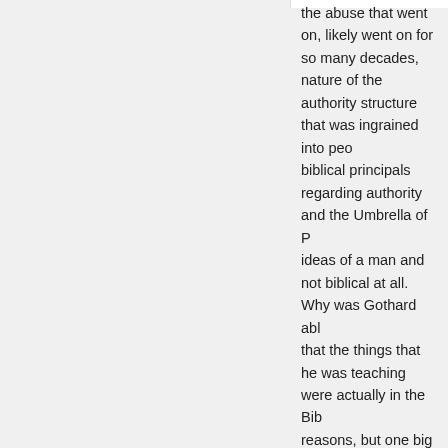the abuse that went on, likely went on for so many decades, nature of the authority structure that was ingrained into people, biblical principals regarding authority and the Umbrella of P... ideas of a man and not biblical at all. Why was Gothard able that the things that he was teaching were actually in the Bib... reasons, but one big one is that your conclusion # 2 was no... Gothard not been elevated like he was and had the focus b... Gothard's words would have been seen for what they were... Gothard's word would have been tested against God's wor... would have been found to be unbiblical.
back to top ^
Brother, I appreciate your prayers for healing. I, too, pray fo... you would examine each and every teaching that you learn... organization hold it up to the test of Scripture.
[Figure (photo): Generic user avatar image - gray silhouette of a person on gray background]
Allan Cady June 4, 2018
I realize I'm in the minority here, but I feel moved to comme...
I attended IBYC's basic seminar twice -- first in 1974 as a s... again in 1976 during the summer after I graduated. I didn't... wanted to do with my life, and the highly structured natro...